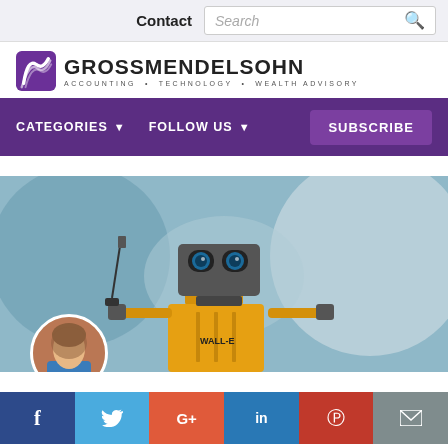Contact  Search
[Figure (logo): Gross Mendelsohn logo with purple wave icon. Text: GROSSMENDELSOHN, ACCOUNTING • TECHNOLOGY • WEALTH ADVISORY]
CATEGORIES ▼   FOLLOW US ▼   SUBSCRIBE
[Figure (photo): Photo of WALL-E robot toy holding string against blurred background. Circular avatar of a woman in blue top overlaid at bottom left.]
[Figure (infographic): Social share bar with icons: Facebook (f), Twitter (bird), Google+ (G+), LinkedIn (in), Pinterest (P), Email (envelope)]